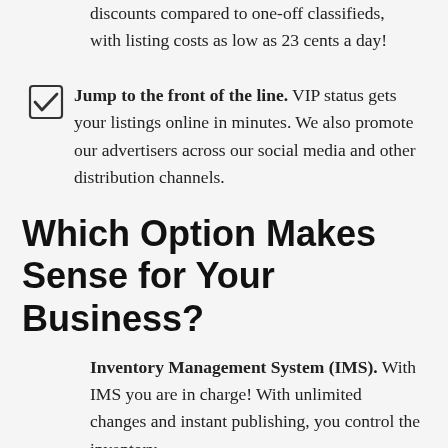discounts compared to one-off classifieds, with listing costs as low as 23 cents a day!
Jump to the front of the line. VIP status gets your listings online in minutes. We also promote our advertisers across our social media and other distribution channels.
Which Option Makes Sense for Your Business?
Inventory Management System (IMS). With IMS you are in charge! With unlimited changes and instant publishing, you control the inventory